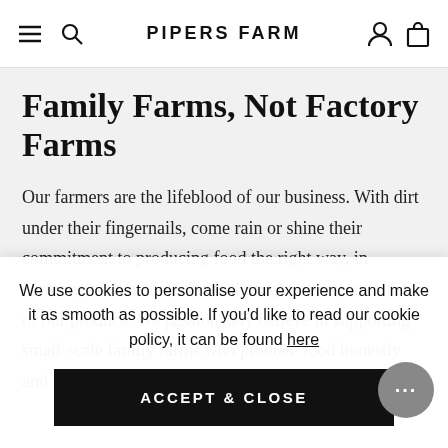PIPERS FARM
Family Farms, Not Factory Farms
Our farmers are the lifeblood of our business. With dirt under their fingernails, come rain or shine their commitment to producing food the right way, in harmony with nature, shines through in every mouthful of our produce. We passionately believe in supporting small-scale family farms who produce food honestly and with integrity. We work directly with over
We use cookies to personalise your experience and make it as smooth as possible. If you'd like to read our cookie policy, it can be found here
ACCEPT & CLOSE